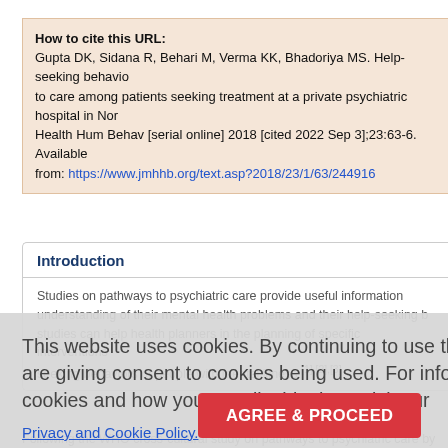How to cite this URL: Gupta DK, Sidana R, Behari M, Verma KK, Bhadoriya MS. Help-seeking behavior to care among patients seeking treatment at a private psychiatric hospital in Nor Health Hum Behav [serial online] 2018 [cited 2022 Sep 3];23:63-6. Available from: https://www.jmhhb.org/text.asp?2018/23/1/63/244916
Introduction
Studies on pathways to psychiatric care provide useful information understanding of their mental health problems and their help-seeking b studies can help health planners in the planning of specific interventions seeking behaviors of people with mental illness.[1],[2],[3]
Following the WHO cross-cultural study on pathways to psychiatric care by 1991, a number of studies have been reported from Western and develo [5],[6],[7] developing countries,[3],[8],[9] as well as from India.[2],[10],[11],[1
These studies were mostly carried out at tertiary hospitals in the governme